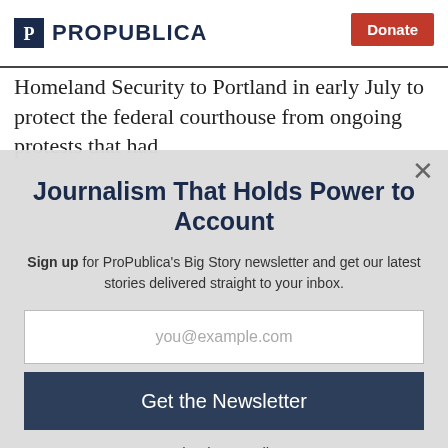ProPublica | Donate
Homeland Security to Portland in early July to protect the federal courthouse from ongoing protests that had
Journalism That Holds Power to Account
Sign up for ProPublica's Big Story newsletter and get our latest stories delivered straight to your inbox.
you@example.com
Get the Newsletter
No thanks, I'm all set
This site is protected by reCAPTCHA and the Google Privacy Policy and Terms of Service apply.